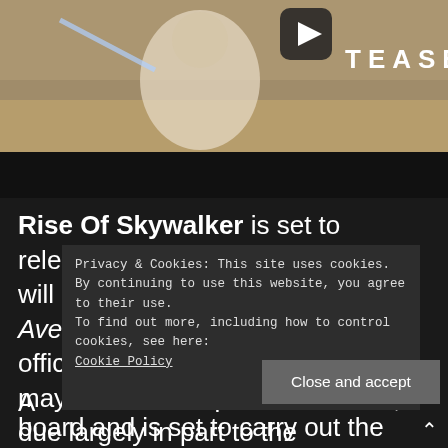[Figure (screenshot): Video thumbnail showing a Star Wars: Rise of Skywalker teaser with a character in desert setting and TEASER text overlay with play button icon and dark control bar]
Rise Of Skywalker is set to release December 20th, 2019 and will be looking to challenge Avengers: Endgame for the box office crown. While some of you may have lost hope in Star Wars, due largely in part to the divisiveness
Privacy & Cookies: This site uses cookies. By continuing to use this website, you agree to their use.
To find out more, including how to control cookies, see here:
Cookie Policy
Close and accept
board and is set to carry out the Skywalker